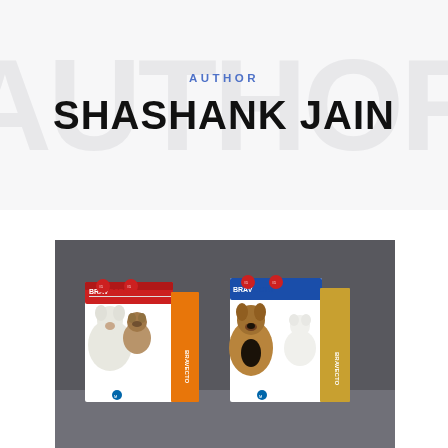AUTHOR
SHASHANK JAIN
[Figure (photo): Four Bravecto brand dog flea and tick treatment product boxes displayed on a surface. Two groups of two boxes each, showing different dog breeds on the packaging including a large white fluffy dog, a pug, a German shepherd, and a small white dog. The boxes are labeled 'BRAVECTO' in red and blue branding.]